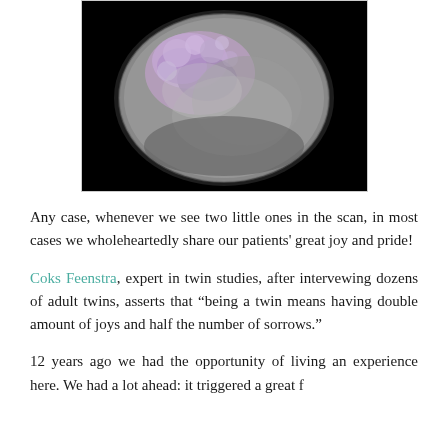[Figure (photo): Microscopy image of what appears to be a twin embryo or cell cluster, grayscale with purple/violet highlighted regions, circular specimen on dark background.]
Any case, whenever we see two little ones in the scan, in most cases we wholeheartedly share our patients' great joy and pride!
Coks Feenstra, expert in twin studies, after intervewing dozens of adult twins, asserts that "being a twin means having double amount of joys and half the number of sorrows."
12 years ago we had the opportunity of living an experience here. We had a lot ahead: it triggered a great f...